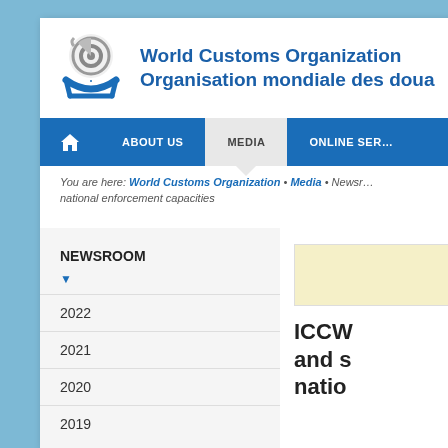[Figure (logo): World Customs Organization logo — circular grey gear/target icon above a blue arc/cradle shape]
World Customs Organization Organisation mondiale des dou...
ABOUT US | MEDIA | ONLINE SER...
You are here: World Customs Organization • Media • Newsr... national enforcement capacities
NEWSROOM
2022
2021
2020
2019
ICCW... and s... natio...